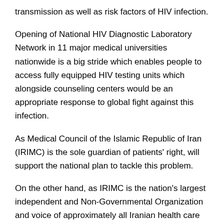transmission as well as risk factors of HIV infection.
Opening of National HIV Diagnostic Laboratory Network in 11 major medical universities nationwide is a big stride which enables people to access fully equipped HIV testing units which alongside counseling centers would be an appropriate response to global fight against this infection.
As Medical Council of the Islamic Republic of Iran (IRIMC) is the sole guardian of patients' right, will support the national plan to tackle this problem.
On the other hand, as IRIMC is the nation's largest independent and Non-Governmental Organization and voice of approximately all Iranian health care professionals, it protects the guild and professional rights of Iranian health care professionals as well.